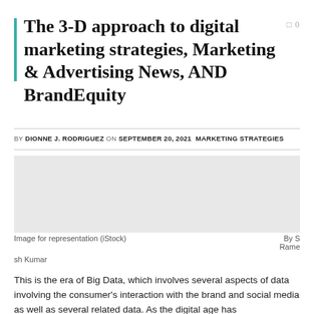The 3-D approach to digital marketing strategies, Marketing & Advertising News, AND BrandEquity
BY DIONNE J. RODRIGUEZ ON SEPTEMBER 20, 2021 MARKETING STRATEGIES
[Figure (photo): Image placeholder for representation (iStock)]
Image for representation (iStock)     By S Ramesh Kumar
This is the era of Big Data, which involves several aspects of data involving the consumer's interaction with the brand and social media as well as several related data. As the digital age has